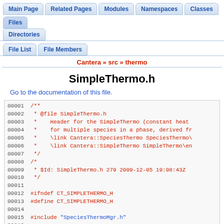Main Page | Related Pages | Modules | Namespaces | Classes | Files | Directories
File List | File Members
Cantera » src » thermo
SimpleThermo.h
Go to the documentation of this file.
00001  /**
00002   * @file SimpleThermo.h
00003   *    Header for the SimpleThermo (constant heat
00004   *    for multiple species in a phase, derived fr
00005   *    \link Cantera::SpeciesThermo SpeciesThermo\
00006   *    \link Cantera::SimpleThermo SimpleThermo\en
00007   */
00008  /*
00009   * $Id: SimpleThermo.h 279 2009-12-05 19:08:43Z
00010   */
00011  
00012  #ifndef CT_SIMPLETHERMO_H
00013  #define CT_SIMPLETHERMO_H
00014  
00015  #include "SpeciesThermoMgr.h"
00016  
00017  namespace Cantera {
00018  
00019    /*!